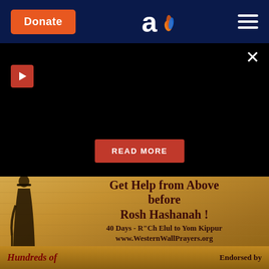Donate
[Figure (logo): Aish.com logo — stylized lowercase 'a' with a flame icon in blue and orange]
[Figure (other): Hamburger menu icon (three horizontal lines) on dark navy background]
[Figure (other): Black panel with close X button, red play triangle button, and a red READ MORE button]
[Figure (photo): Advertisement image showing the Western Wall with a silhouette of a person praying, with text overlay: 'Get Help from Above before Rosh Hashanah! 40 Days - R"Ch Elul to Yom Kippur www.WesternWallPrayers.org'. Bottom strip reads 'Hundreds of...' on left and 'Endorsed by' on right.]